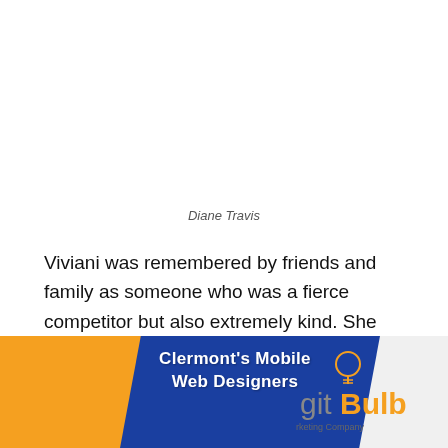Diane Travis
Viviani was remembered by friends and family as someone who was a fierce competitor but also extremely kind. She sometimes crossed the finish line late because she would stop to help another athlete.
[Figure (infographic): Advertisement banner for Clermont's Mobile Web Designers by gitBulb, a Marketing Company. Orange and blue parallelogram shapes with white bold text on left, gitBulb logo on the right.]